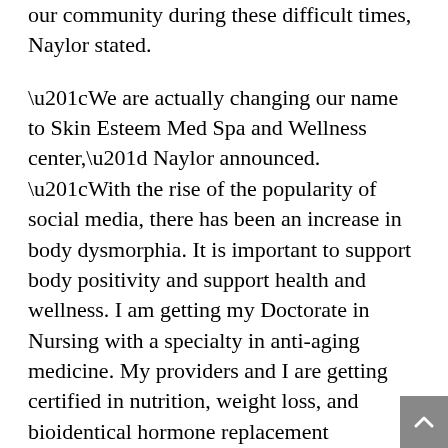our community during these difficult times, Naylor stated.
“We are actually changing our name to Skin Esteem Med Spa and Wellness center,” Naylor announced. “With the rise of the popularity of social media, there has been an increase in body dysmorphia. It is important to support body positivity and support health and wellness. I am getting my Doctorate in Nursing with a specialty in anti-aging medicine. My providers and I are getting certified in nutrition, weight loss, and bioidentical hormone replacement therapy.”
Naylor also often does pro bono aesthetic work on cancer patients and others with certain medical problems. With twenty years of experience, she collaborates closely with other medical professionals to help these clients feel